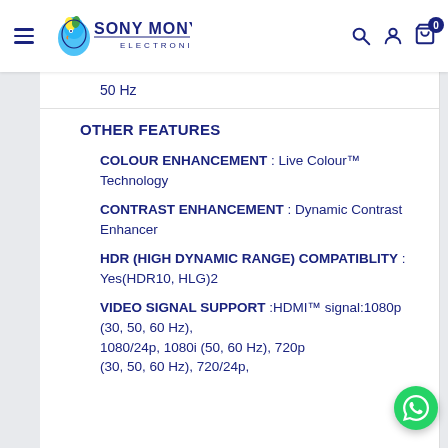Sony Mony Electronics — navigation header with logo, search, account, and cart icons
50 Hz
OTHER FEATURES
COLOUR ENHANCEMENT : Live Colour™ Technology
CONTRAST ENHANCEMENT : Dynamic Contrast Enhancer
HDR (HIGH DYNAMIC RANGE) COMPATIBLITY : Yes(HDR10, HLG)2
VIDEO SIGNAL SUPPORT :HDMI™ signal:1080p (30, 50, 60 Hz), 1080/24p, 1080i (50, 60 Hz), 720p (30, 50, 60 Hz), 720/24p,